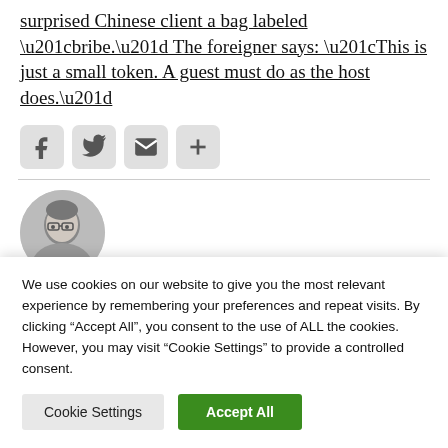surprised Chinese client a bag labeled “bribe.” The foreigner says: “This is just a small token. A guest must do as the host does.”
[Figure (other): Social sharing icons: Facebook, Twitter, Email, and a plus/share button]
[Figure (photo): Circular author avatar photo: grayscale portrait of a man with glasses]
We use cookies on our website to give you the most relevant experience by remembering your preferences and repeat visits. By clicking “Accept All”, you consent to the use of ALL the cookies. However, you may visit "Cookie Settings" to provide a controlled consent.